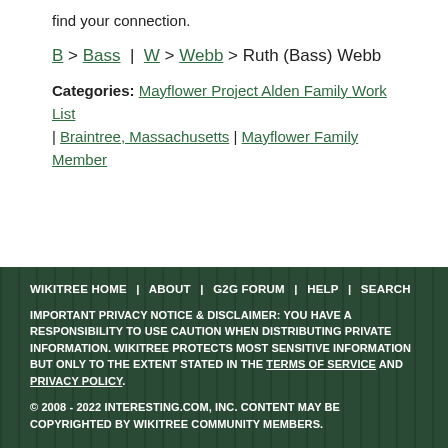find your connection.
B > Bass | W > Webb > Ruth (Bass) Webb
Categories: Mayflower Project Alden Family Work List | Braintree, Massachusetts | Mayflower Family Member
WIKITREE HOME | ABOUT | G2G FORUM | HELP | SEARCH
IMPORTANT PRIVACY NOTICE & DISCLAIMER: YOU HAVE A RESPONSIBILITY TO USE CAUTION WHEN DISTRIBUTING PRIVATE INFORMATION. WIKITREE PROTECTS MOST SENSITIVE INFORMATION BUT ONLY TO THE EXTENT STATED IN THE TERMS OF SERVICE AND PRIVACY POLICY.
© 2008 - 2022 INTERESTING.COM, INC. CONTENT MAY BE COPYRIGHTED BY WIKITREE COMMUNITY MEMBERS.